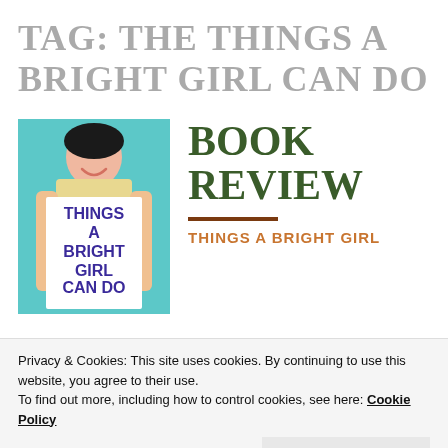TAG: THE THINGS A BRIGHT GIRL CAN DO
[Figure (illustration): Book cover of 'Things A Bright Girl Can Do' — a stylized illustration of a woman holding a white sign with the title text in bold purple on a teal background]
BOOK REVIEW — THINGS A BRIGHT GIRL
Privacy & Cookies: This site uses cookies. By continuing to use this website, you agree to their use.
To find out more, including how to control cookies, see here: Cookie Policy
Close and accept
Bright Girl Can Do |